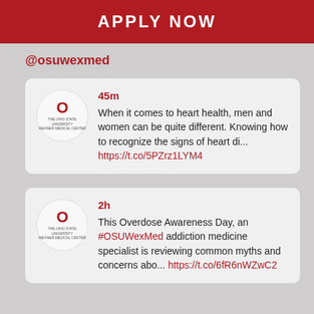APPLY NOW
@osuwexmed
45m
When it comes to heart health, men and women can be quite different. Knowing how to recognize the signs of heart di... https://t.co/5PZrz1LYM4
2h
This Overdose Awareness Day, an #OSUWexMed addiction medicine specialist is reviewing common myths and concerns abo... https://t.co/6fR6nWZwC2